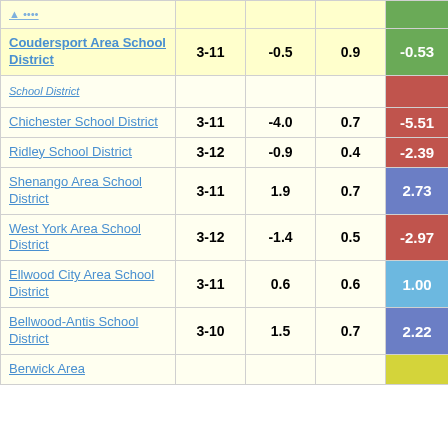| District | Grades | Col3 | Col4 | Score |
| --- | --- | --- | --- | --- |
| (partial top row - cropped) | 3-11 | -0.5 | 0.9 | -0.53 |
| Coudersport Area School District | 3-11 | -0.5 | 0.9 | -0.53 |
| School District (partial) |  |  |  |  |
| Chichester School District | 3-11 | -4.0 | 0.7 | -5.51 |
| Ridley School District | 3-12 | -0.9 | 0.4 | -2.39 |
| Shenango Area School District | 3-11 | 1.9 | 0.7 | 2.73 |
| West York Area School District | 3-12 | -1.4 | 0.5 | -2.97 |
| Ellwood City Area School District | 3-11 | 0.6 | 0.6 | 1.00 |
| Bellwood-Antis School District | 3-10 | 1.5 | 0.7 | 2.22 |
| Berwick Area (partial) |  |  |  |  |